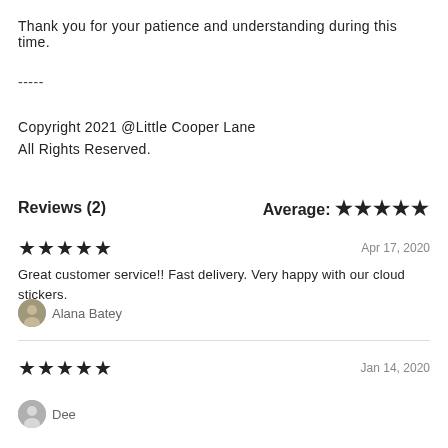Thank you for your patience and understanding during this time.
-----
Copyright 2021 @Little Cooper Lane
All Rights Reserved.
Reviews (2)
Average: ★★★★★
★★★★★
Apr 17, 2020
Great customer service!! Fast delivery. Very happy with our cloud stickers.
Alana Batey
★★★★★
Jan 14, 2020
Dee